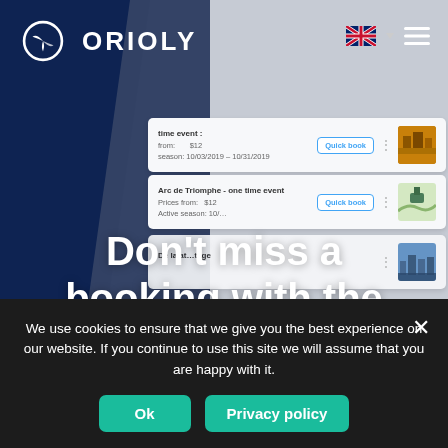[Figure (screenshot): Orioly website screenshot showing navigation bar with logo and UK flag, UI booking cards with 'Quick book' buttons, and hero text overlay reading 'Don't miss a booking with the new version of']
Don't miss a booking with the new version of
We use cookies to ensure that we give you the best experience on our website. If you continue to use this site we will assume that you are happy with it.
Ok
Privacy policy